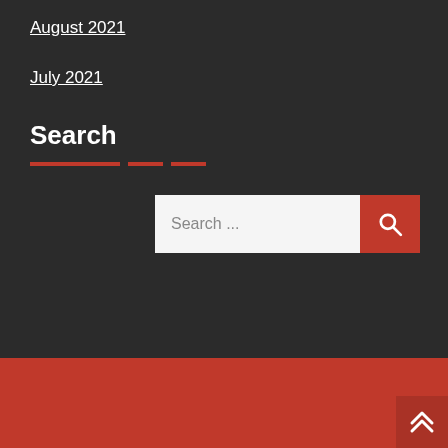August 2021
July 2021
Search
[Figure (other): Search input box with red search button and placeholder text 'Search ...']
Copyright © 2022 hanna-vending.com | Powered by StartBiz